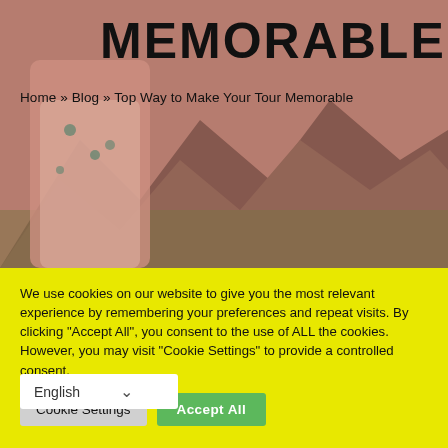[Figure (photo): Hero background image of a woman in a floral dress standing among large rocks near a coast, with a pinkish-red overlay tint]
MEMORABLE
Home » Blog » Top Way to Make Your Tour Memorable
We use cookies on our website to give you the most relevant experience by remembering your preferences and repeat visits. By clicking "Accept All", you consent to the use of ALL the cookies. However, you may visit "Cookie Settings" to provide a controlled consent.
Cookie Settings | Accept All
English